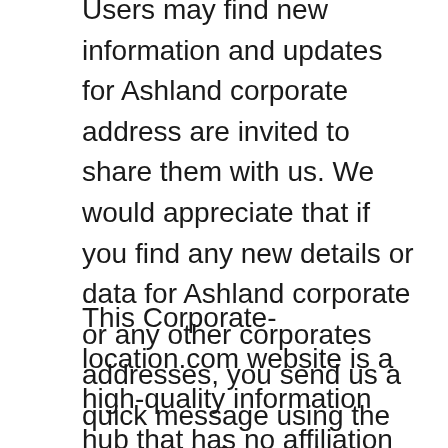Users may find new information and updates for Ashland corporate address are invited to share them with us. We would appreciate that if you find any new details or data for Ashland corporate or any other corporates addresses, you send us a quick message using the comments form below or the contact us page. We will confirm and verify the information and publish it for the benefits of all users, for free.
This Corporate-location.com website is a high-quality information hub that has no affiliation with Ashland corporate or any federal or state department, agency, office,